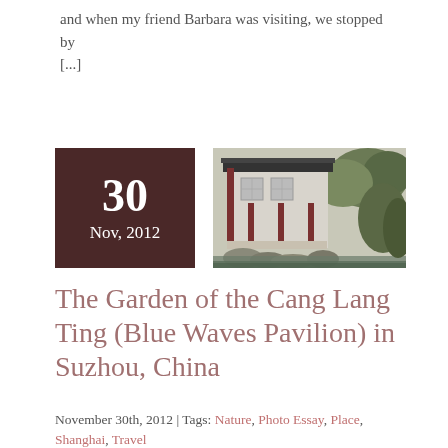and when my friend Barbara was visiting, we stopped by [...]
[Figure (photo): Date badge showing '30 Nov, 2012' in dark brown/maroon box alongside a photograph of a traditional Chinese garden building with white walls, dark red pillars, and a pond with rocks in the foreground, at Cang Lang Ting in Suzhou, China]
The Garden of the Cang Lang Ting (Blue Waves Pavilion) in Suzhou, China
November 30th, 2012 | Tags: Nature, Photo Essay, Place, Shanghai, Travel